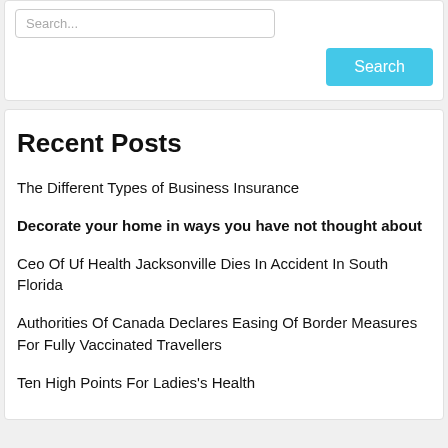Search...
Search
Recent Posts
The Different Types of Business Insurance
Decorate your home in ways you have not thought about
Ceo Of Uf Health Jacksonville Dies In Accident In South Florida
Authorities Of Canada Declares Easing Of Border Measures For Fully Vaccinated Travellers
Ten High Points For Ladies's Health